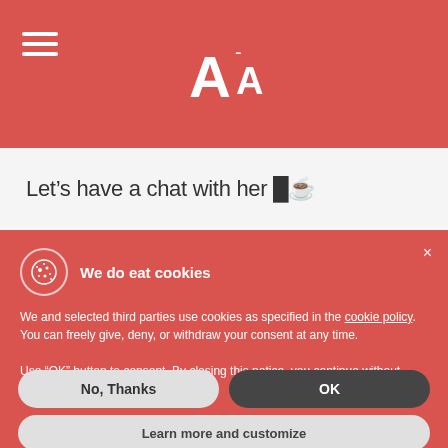[Figure (logo): AA logo with font size toggle icon in white on red background, with hamburger menu icon on the left]
Let’s have a chat with her 💨☕
We do eat cookies
We and selected third parties use cookies as specified in the cookie policy.
You can freely give, deny, or withdraw your consent at any time.

Use “OK” button to consent. By closing this notice, you continue without accepting.
No, Thanks
OK
Learn more and customize